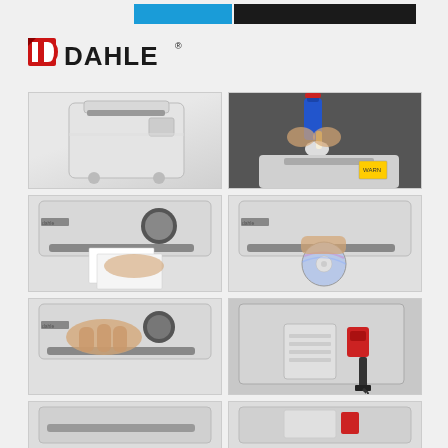Dahle product page header with blue and black banner
[Figure (logo): DAHLE brand logo in black with red icon]
[Figure (photo): Dahle shredder machine, white, full unit view]
[Figure (photo): Oiling a shredder with oil bottle, hands visible]
[Figure (photo): Hand inserting paper into shredder slot, top view]
[Figure (photo): Hand inserting CD/disc into shredder slot, top view]
[Figure (photo): Hand pressing button or control on shredder top, close-up]
[Figure (photo): Shredder plug and power switch panel, side view]
[Figure (photo): Partial view of shredder, bottom left, cut off]
[Figure (photo): Partial view of shredder, bottom right, cut off]